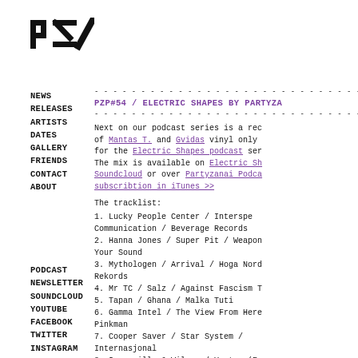[Figure (logo): Partyzanai logo with stylized P and Z letters with diagonal slash]
NEWS
RELEASES
ARTISTS
DATES
GALLERY
FRIENDS
CONTACT
ABOUT
PODCAST
NEWSLETTER
SOUNDCLOUD
YOUTUBE
FACEBOOK
TWITTER
INSTAGRAM
BLOG
- - - - - - - - - - - - - - - - - - - - - - - - - - - - -
PZP#54 / ELECTRIC SHAPES BY PARTYZA
- - - - - - - - - - - - - - - - - - - - - - - - - - - - -
Next on our podcast series is a rec of Mantas T. and Gvidas vinyl only for the Electric Shapes podcast ser The mix is available on Electric Sh Soundcloud or over Partyzanai Podca subscribtion in iTunes >>
The tracklist:
1. Lucky People Center / Interspecies Communication / Beverage Records
2. Hanna Jones / Super Pit / Weapon Your Sound
3. Mythologen / Arrival / Hoga Nord Rekords
4. Mr TC / Salz / Against Fascism T
5. Tapan / Ghana / Malka Tuti
6. Gamma Intel / The View From Here Pinkman
7. Cooper Saver / Star System / Internasjonal
8. Somerville & Wilson / Yantar (Fa Remix) / Hell Yeah
9. TV.OUT / Blackout / L.I.E.S.
10. Alessandro Adriani / Strom Tre